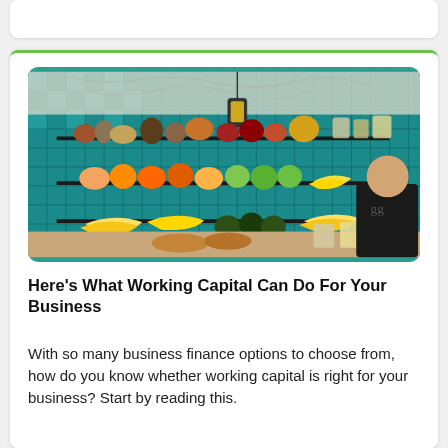[Figure (photo): Interior of a grocery/deli shop showing shelves of colorful fruits and vegetables against teal/turquoise tiled walls, with a pendant lantern hanging from ceiling and a person in a black shirt working at the counter]
Here's What Working Capital Can Do For Your Business
With so many business finance options to choose from, how do you know whether working capital is right for your business? Start by reading this.
Nicki Ghazi